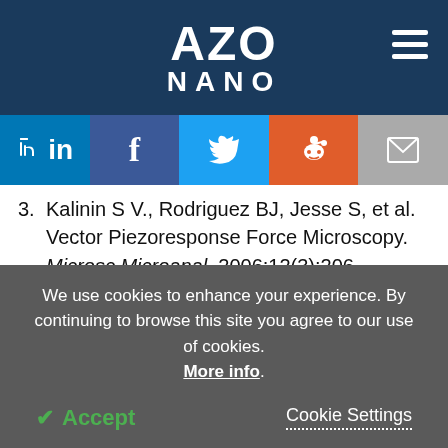AZO NANO
3. Kalinin S V., Rodriguez BJ, Jesse S, et al. Vector Piezoresponse Force Microscopy. Microsc Microanal. 2006;12(3):206. doi:10.1017/S1431927606060156.
4. Peter F, Rüdiger A, Waser R. Mechanical crosstalk between vertical and lateral piezoresponse force microscopy. Rev Sci
We use cookies to enhance your experience. By continuing to browse this site you agree to our use of cookies. More info.
Accept   Cookie Settings